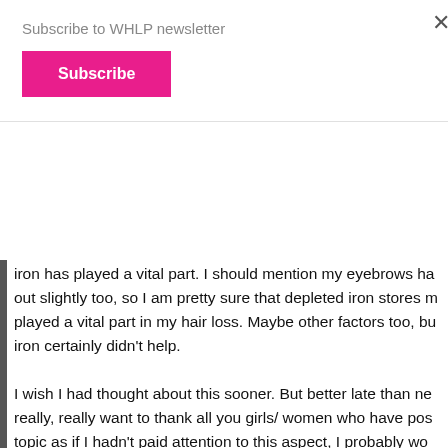Subscribe to WHLP newsletter
Subscribe
iron has played a vital part. I should mention my eyebrows ha out slightly too, so I am pretty sure that depleted iron stores m played a vital part in my hair loss. Maybe other factors too, bu iron certainly didn't help.
I wish I had thought about this sooner. But better late than ne really, really want to thank all you girls/ women who have post topic as if I hadn't paid attention to this aspect, I probably wou carried on thinking something else was wrong with me and be doctors who kept telling me nothing could be done.
Maybe I have seen the end of my HL story, maybe not. I try to positive and grateful – I have 2 beautiful children and lots of th going for me. But the HL nearly managed to crush my self con at times made me so depressed to the point of not wanting to